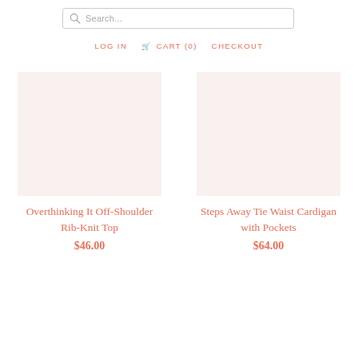Search...
LOG IN   CART (0)   CHECKOUT
Overthinking It Off-Shoulder Rib-Knit Top
$46.00
Steps Away Tie Waist Cardigan with Pockets
$64.00